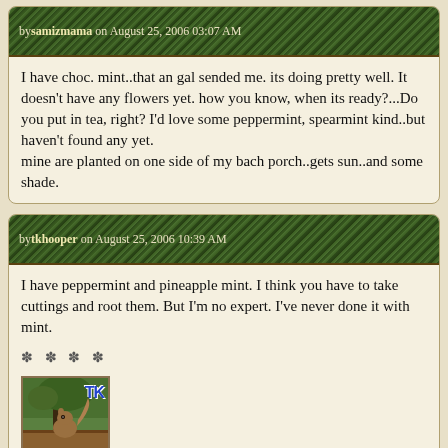by samizmama on August 25, 2006 03:07 AM
I have choc. mint..that an gal sended me. its doing pretty well. It doesn't have any flowers yet. how you know, when its ready?...Do you put in tea, right? I'd love some peppermint, spearmint kind..but haven't found any yet.
mine are planted on one side of my bach porch..gets sun..and some shade.
by tkhooper on August 25, 2006 10:39 AM
I have peppermint and pineapple mint. I think you have to take cuttings and root them. But I'm no expert. I've never done it with mint.
✽ ✽ ✽ ✽
[Figure (photo): User avatar for tkhooper showing a squirrel on a wooden surface with TK text overlay]